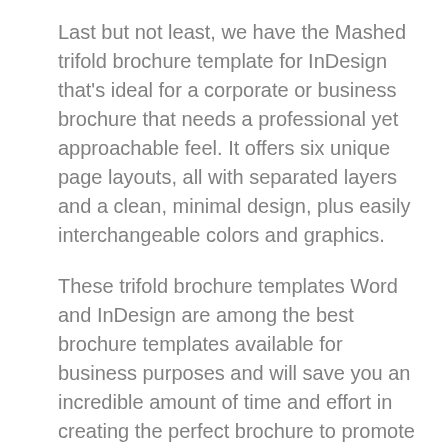Last but not least, we have the Mashed trifold brochure template for InDesign that's ideal for a corporate or business brochure that needs a professional yet approachable feel. It offers six unique page layouts, all with separated layers and a clean, minimal design, plus easily interchangeable colors and graphics.
These trifold brochure templates Word and InDesign are among the best brochure templates available for business purposes and will save you an incredible amount of time and effort in creating the perfect brochure to promote your business.